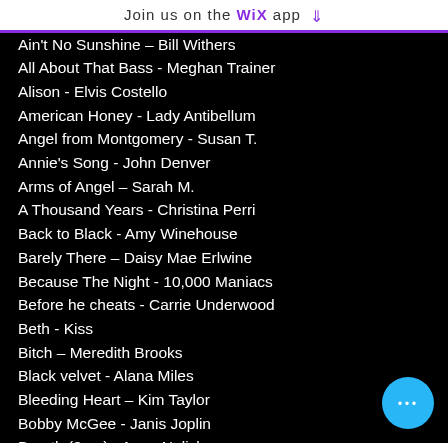Join us on the WiX app ↓
Ain't No Sunshine – Bill Withers
All About That Bass - Meghan Trainer
Alison - Elvis Costello
American Honey - Lady Antibellum
Angel from Montgomery - Susan T.
Annie's Song - John Denver
Arms of Angel – Sarah M.
A Thousand Years - Christina Perri
Back to Black - Amy Winehouse
Barely There – Daisy Mae Erlwine
Because The Night - 10,000 Maniacs
Before he cheats - Carrie Underwood
Beth - Kiss
Bitch – Meredith Brooks
Black velvet - Alana Miles
Bleeding Heart – Kim Taylor
Bobby McGee - Janis Joplin
Breath (2am) - Anna Nalick
Brown Eyed Girl – Van Morrison
Chaos - Shannon Lee
Chasing cars - Snow Patrol
City of New Orleans – Arlo Guthrie